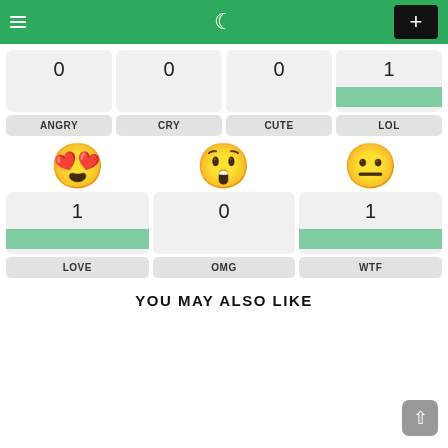Navigation bar with hamburger menu, moon/night mode icon, and + button
[Figure (infographic): Emoji reaction buttons grid: ANGRY (0), CRY (0), CUTE (0), LOL (1 with green bar), LOVE (1 with green bar), OMG (0), WTF (1 with green bar)]
YOU MAY ALSO LIKE